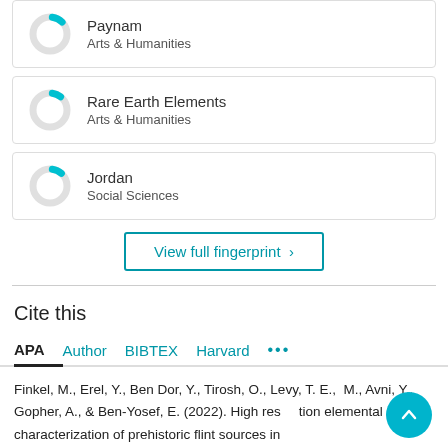[Figure (donut-chart): Partial donut/ring chart for Paynam, Arts & Humanities, showing small cyan segment]
Paynam
Arts & Humanities
[Figure (donut-chart): Partial donut/ring chart for Rare Earth Elements, Arts & Humanities, showing small cyan segment]
Rare Earth Elements
Arts & Humanities
[Figure (donut-chart): Partial donut/ring chart for Jordan, Social Sciences, showing small cyan segment]
Jordan
Social Sciences
View full fingerprint ›
Cite this
APA  Author  BIBTEX  Harvard  •••
Finkel, M., Erel, Y., Ben Dor, Y., Tirosh, O., Levy, T. E., M., Avni, Y., Gopher, A., & Ben-Yosef, E. (2022). High resolution elemental characterization of prehistoric flint sources in